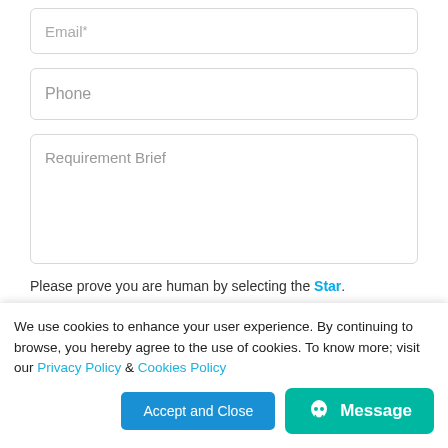[Figure (screenshot): Web form with Email, Phone, and Requirement Brief input fields, a CAPTCHA challenge showing heart, house, and star icons with instruction text, and a partial checkbox row at bottom. Overlaid by a cookie consent banner with Accept and Close button and a Message button.]
Please prove you are human by selecting the Star.
We use cookies to enhance your user experience. By continuing to browse, you hereby agree to the use of cookies. To know more; visit our Privacy Policy & Cookies Policy
Accept and Close
Message